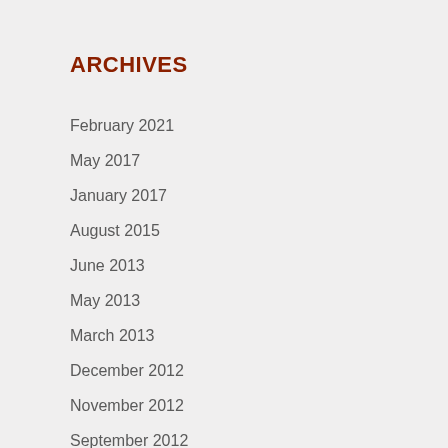ARCHIVES
February 2021
May 2017
January 2017
August 2015
June 2013
May 2013
March 2013
December 2012
November 2012
September 2012
August 2012
July 2012